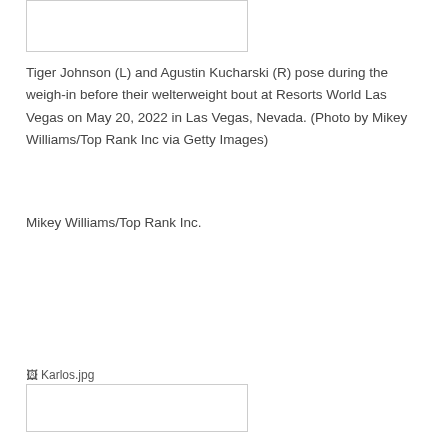[Figure (photo): Placeholder image box at top of page (broken/missing image)]
Tiger Johnson (L) and Agustin Kucharski (R) pose during the weigh-in before their welterweight bout at Resorts World Las Vegas on May 20, 2022 in Las Vegas, Nevada. (Photo by Mikey Williams/Top Rank Inc via Getty Images)
Mikey Williams/Top Rank Inc.
[Figure (photo): Broken image placeholder labeled Karlos.jpg with an image box below it]